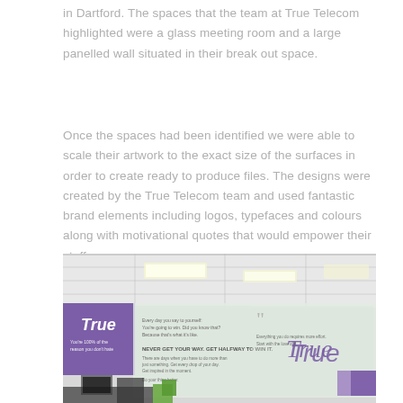in Dartford. The spaces that the team at True Telecom highlighted were a glass meeting room and a large panelled wall situated in their break out space.
Once the spaces had been identified we were able to scale their artwork to the exact size of the surfaces in order to create ready to produce files. The designs were created by the True Telecom team and used fantastic brand elements including logos, typefaces and colours along with motivational quotes that would empower their staff.
[Figure (photo): Office interior photo showing a large glass meeting room wall with True Telecom branded graphics including the 'True' logo in purple cursive script, motivational text/quotes printed on frosted glass panels, and purple branded signage visible in the background. The office has standard ceiling tiles and lighting.]